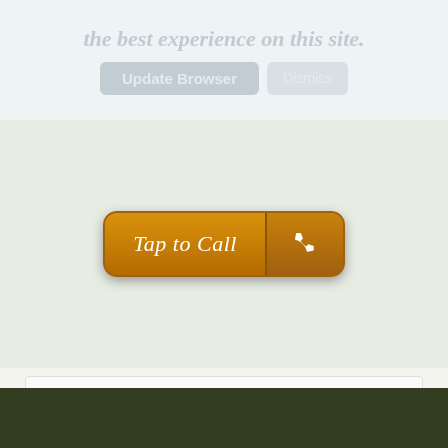the best experience on this site.
[Figure (screenshot): Browser upgrade banner with 'Update Browser' and dismiss button, faded/greyed out]
[Figure (other): Orange 'Tap to Call' button with phone icon on light olive/green background]
PAGES NAVIGATION MENU
[Figure (other): Dark olive/army green footer bar]